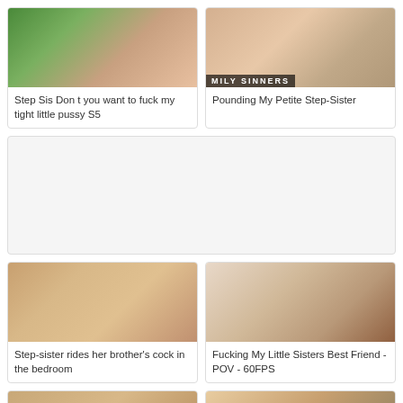[Figure (photo): Thumbnail image for adult video card 1]
Step Sis Don t you want to fuck my tight little pussy S5
[Figure (photo): Thumbnail image for adult video card 2 with MILY SINNERS watermark]
Pounding My Petite Step-Sister
[Figure (photo): Advertisement placeholder gray box]
[Figure (photo): Thumbnail image for adult video card 3]
Step-sister rides her brother's cock in the bedroom
[Figure (photo): Thumbnail image for adult video card 4]
Fucking My Little Sisters Best Friend - POV - 60FPS
[Figure (photo): Thumbnail image for adult video card 5 (partial, bottom)]
[Figure (photo): Thumbnail image for adult video card 6 (partial, bottom)]